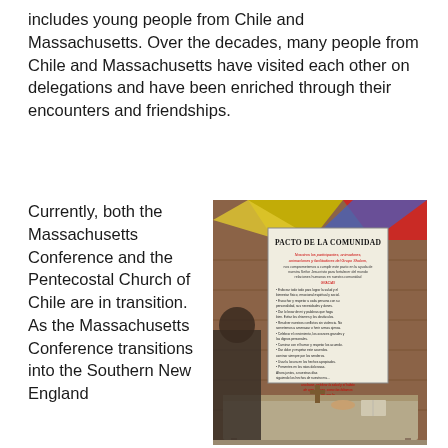includes young people from Chile and Massachusetts. Over the decades, many people from Chile and Massachusetts have visited each other on delegations and have been enriched through their encounters and friendships.
Currently, both the Massachusetts Conference and the Pentecostal Church of Chile are in transition. As the Massachusetts Conference transitions into the Southern New England
[Figure (photo): Indoor photo showing a wooden wall with a banner reading 'Pacto de la Comunidad' in Spanish, with text underneath. A table with a cloth cover holds a cross, bowl, and other items. Colorful flags (yellow, red, blue) are visible at the top. A person is partially visible on the left side.]